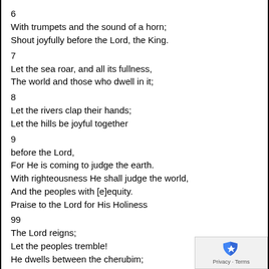6
With trumpets and the sound of a horn;
Shout joyfully before the Lord, the King.
7
Let the sea roar, and all its fullness,
The world and those who dwell in it;
8
Let the rivers clap their hands;
Let the hills be joyful together
9
before the Lord,
For He is coming to judge the earth.
With righteousness He shall judge the world,
And the peoples with [e]equity.
Praise to the Lord for His Holiness
99
The Lord reigns;
Let the peoples tremble!
He dwells between the cherubim;
Let the earth be [f]moved!
2
The Lord is great in Zion,